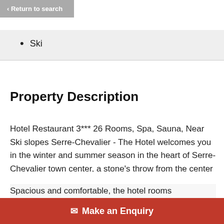< Return to search
Ski
Property Description
Hotel Restaurant 3*** 26 Rooms, Spa, Sauna, Near Ski slopes Serre-Chevalier - The Hotel welcomes you in the winter and summer season in the heart of Serre-Chevalier town center, a stone's throw from the center of the picturesque mountain village, close to the ski lifts and the Serre-Chevalier slopes. Benefit from an exceptional location and excellent value for money by staying
Spacious and comfortable, the hotel rooms
✉ Make an Enquiry